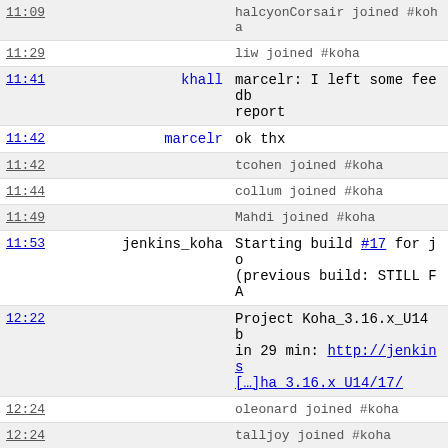| Time | User | Message |
| --- | --- | --- |
| 11:09 |  | halcyonCorsair joined #koha |
| 11:29 |  | liw joined #koha |
| 11:41 | khall | marcelr: I left some feedb... report |
| 11:42 | marcelr | ok thx |
| 11:42 |  | tcohen joined #koha |
| 11:44 |  | collum joined #koha |
| 11:49 |  | Mahdi joined #koha |
| 11:53 | jenkins_koha | Starting build #17 for jo... (previous build: STILL FA... |
| 12:22 |  | Project Koha_3.16.x_U14 b... in 29 min: http://jenkins [...] ha 3.16.x U14/17/ |
| 12:24 |  | oleonard joined #koha |
| 12:24 |  | talljoy joined #koha |
| 12:27 |  | tcohen joined #koha |
| 12:30 | jenkins_koha | Starting build #18 for jo... (previous build: STILL FA... |
| 12:33 |  | tcohen joined #koha |